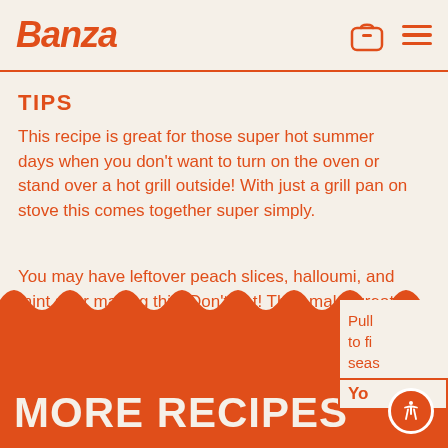Banza
TIPS
This recipe is great for those super hot summer days when you don't want to turn on the oven or stand over a hot grill outside! With just a grill pan on stove this comes together super simply.
You may have leftover peach slices, halloumi, and mint after making this. Don't fret! They make great toppings for a salad or you can easily double the rest of the ingredients to make two pizzas.
Pull to fi sea
Yo
MORE RECIPES